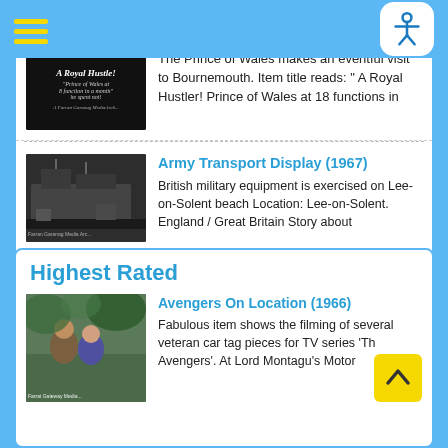[Figure (screenshot): Mobile website screenshot showing video archive search results and highest rated section with thumbnail images and descriptions]
The Prince of Wales makes an eventful visit to Bournemouth. Item title reads: " A Royal Hustler! Prince of Wales at 18 functions in
Army Transport Display (1967)
British military equipment is exercised on Lee-on-Solent beach Location: Lee-on-Solent. England / Great Britain Story about
Highest Rated
Avengers On Location (1966)
Fabulous item shows the filming of several veteran car tag pieces for TV series 'The Avengers'. At Lord Montagu's Motor